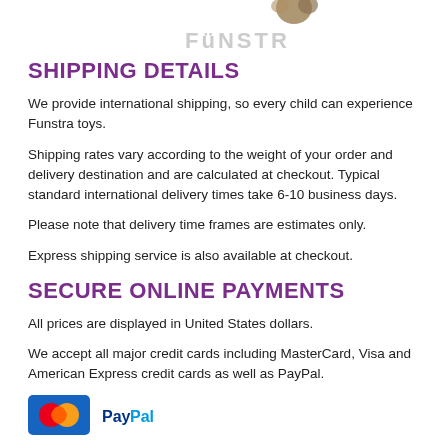[Figure (logo): Funstra logo with animal graphic at top center]
SHIPPING DETAILS
We provide international shipping, so every child can experience Funstra toys.
Shipping rates vary according to the weight of your order and delivery destination and are calculated at checkout. Typical standard international delivery times take 6-10 business days.
Please note that delivery time frames are estimates only.
Express shipping service is also available at checkout.
SECURE ONLINE PAYMENTS
All prices are displayed in United States dollars.
We accept all major credit cards including MasterCard, Visa and American Express credit cards as well as PayPal.
[Figure (logo): MasterCard and PayPal payment logos]